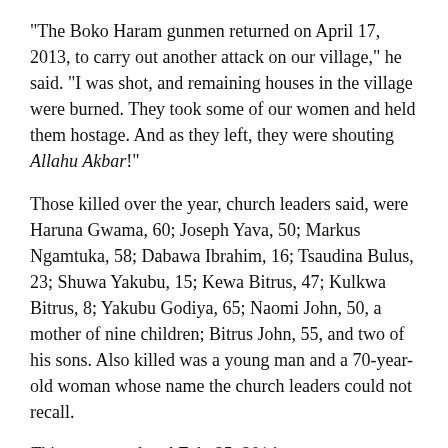“The Boko Haram gunmen returned on April 17, 2013, to carry out another attack on our village,” he said. “I was shot, and remaining houses in the village were burned. They took some of our women and held them hostage. And as they left, they were shouting Allahu Akbar!”
Those killed over the year, church leaders said, were Haruna Gwama, 60; Joseph Yava, 50; Markus Ngamtuka, 58; Dabawa Ibrahim, 16; Tsaudina Bulus, 23; Shuwa Yakubu, 15; Kewa Bitrus, 47; Kulkwa Bitrus, 8; Yakubu Godiya, 65; Naomi John, 50, a mother of nine children; Bitrus John, 55, and two of his sons. Also killed was a young man and a 70-year-old woman whose name the church leaders could not recall.
This report updated Feb. 25, 2014.
###
© 2014 Morning Star News. Articles/photos may be reprinted with credit to Morning Star News.
Morning Star News is a 501(c)(3) non-profit corporation that